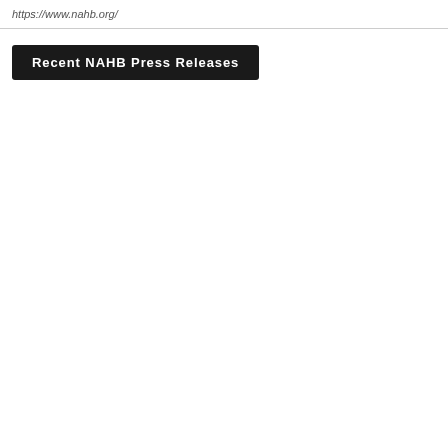https://www.nahb.org/
Recent NAHB Press Releases